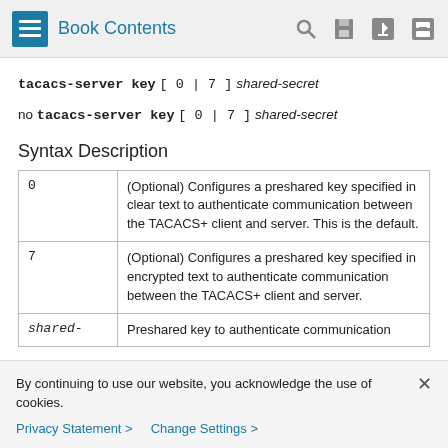Book Contents
tacacs-server key [ 0 | 7 ] shared-secret
no tacacs-server key [ 0 | 7 ] shared-secret
Syntax Description
|  |  |
| --- | --- |
| 0 | (Optional) Configures a preshared key specified in clear text to authenticate communication between the TACACS+ client and server. This is the default. |
| 7 | (Optional) Configures a preshared key specified in encrypted text to authenticate communication between the TACACS+ client and server. |
| shared- | Preshared key to authenticate communication |
By continuing to use our website, you acknowledge the use of cookies.
Privacy Statement > Change Settings >